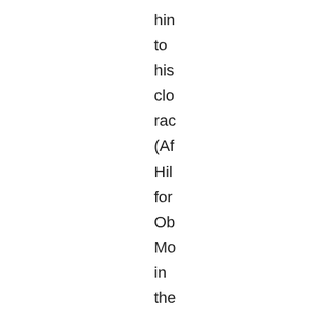hin to his clo rac (Af Hil for Ob Mo in the ge ele of 20 wa